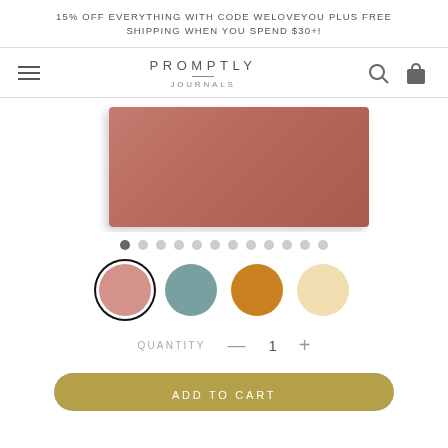15% OFF EVERYTHING WITH CODE WELOVEYOU PLUS FREE SHIPPING WHEN YOU SPEND $30+!
[Figure (logo): Promptly Journals logo with hamburger menu, search icon, and cart icon in navigation bar]
[Figure (photo): Rose/dusty pink horizontal journal with textured cover, shown at slight angle]
[Figure (infographic): Carousel dot indicators - 12 dots, first one is dark/active, rest are light gray]
[Figure (infographic): Color swatches: pink/rose (selected with black ring), teal/slate blue, amber/golden, cream/yellow]
QUANTITY  —  1  +
ADD TO CART